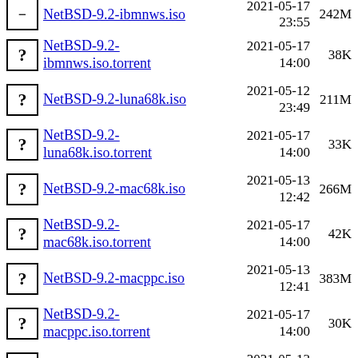NetBSD-9.2-ibmnws.iso  2021-05-17 23:55  242M
NetBSD-9.2-ibmnws.iso.torrent  2021-05-17 14:00  38K
NetBSD-9.2-luna68k.iso  2021-05-12 23:49  211M
NetBSD-9.2-luna68k.iso.torrent  2021-05-17 14:00  33K
NetBSD-9.2-mac68k.iso  2021-05-13 12:42  266M
NetBSD-9.2-mac68k.iso.torrent  2021-05-17 14:00  42K
NetBSD-9.2-macppc.iso  2021-05-13 12:41  383M
NetBSD-9.2-macppc.iso.torrent  2021-05-17 14:00  30K
NetBSD-9.2-mipsco.iso  2021-05-13 00:36  251M
NetBSD-9.2-mipsco.iso.torrent  2021-05-17 14:00  39K
NetBSD-9.2-mvme68k.iso  2021-05-13 00:30  222M
NetBSD-9.2-  2021-05-17  35K